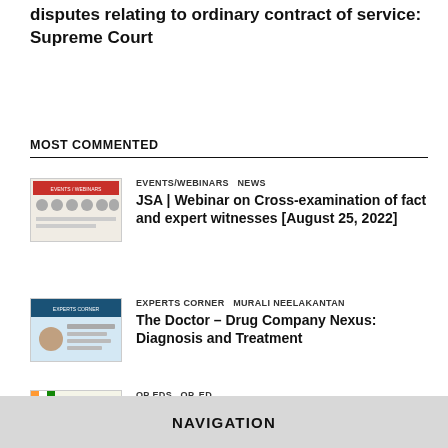disputes relating to ordinary contract of service: Supreme Court
MOST COMMENTED
EVENTS/WEBINARS  NEWS
JSA | Webinar on Cross-examination of fact and expert witnesses [August 25, 2022]
EXPERTS CORNER  MURALI NEELAKANTAN
The Doctor – Drug Company Nexus: Diagnosis and Treatment
OP EDS  OP. ED.
75 Thoughts for 75 Years
NAVIGATION